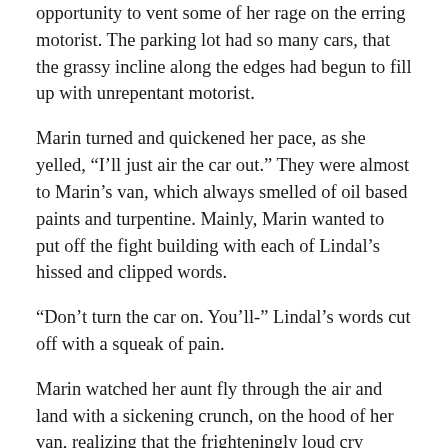opportunity to vent some of her rage on the erring motorist. The parking lot had so many cars, that the grassy incline along the edges had begun to fill up with unrepentant motorist.
Marin turned and quickened her pace, as she yelled, “I’ll just air the car out.” They were almost to Marin’s van, which always smelled of oil based paints and turpentine. Mainly, Marin wanted to put off the fight building with each of Lindal’s hissed and clipped words.
“Don’t turn the car on. You’ll-” Lindal’s words cut off with a squeak of pain.
Marin watched her aunt fly through the air and land with a sickening crunch, on the hood of her van, realizing that the frighteningly loud cry filling the air, was coming from her own mouth. Lindal’s body slide to the ground like a rag